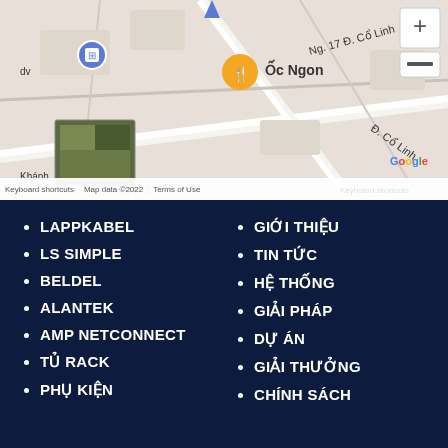[Figure (map): Google Maps screenshot showing a street map area with markers including 'Ốc Ngon' restaurant marker, satellite thumbnail in bottom-left, zoom controls on right, and text 'Ng. 17 Đ. Cổ Linh', 'Đ. Cổ Linh', 'Khánh', '16 P. T...'. Map data ©2022, Keyboard shortcuts, Terms of Use.]
LAPPKABEL
LS SIMPLE
BELDEL
ALANTEK
AMP NETCONNECT
TỦ RACK
PHỤ KIỆN
GIỚI THIỆU
TIN TỨC
HỆ THỐNG
GIẢI PHÁP
DỰ ÁN
GIẢI THƯỞNG
CHÍNH SÁCH